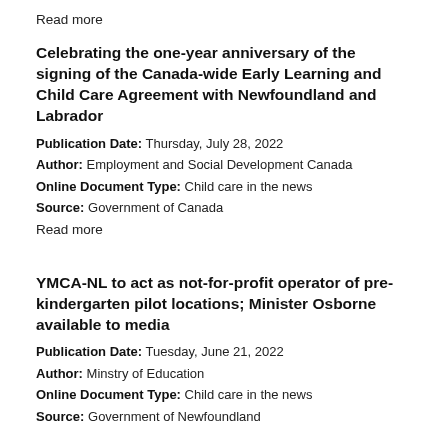Read more
Celebrating the one-year anniversary of the signing of the Canada-wide Early Learning and Child Care Agreement with Newfoundland and Labrador
Publication Date: Thursday, July 28, 2022
Author: Employment and Social Development Canada
Online Document Type: Child care in the news
Source: Government of Canada
Read more
YMCA-NL to act as not-for-profit operator of pre-kindergarten pilot locations; Minister Osborne available to media
Publication Date: Tuesday, June 21, 2022
Author: Minstry of Education
Online Document Type: Child care in the news
Source: Government of Newfoundland